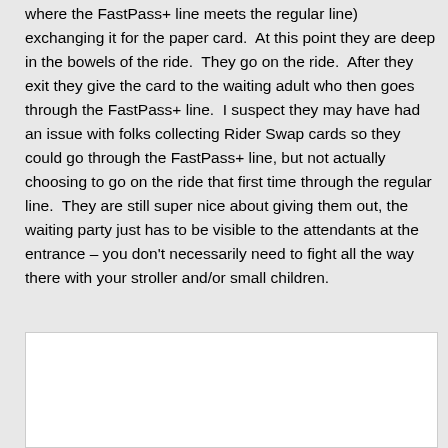where the FastPass+ line meets the regular line) exchanging it for the paper card.  At this point they are deep in the bowels of the ride.  They go on the ride.  After they exit they give the card to the waiting adult who then goes through the FastPass+ line.  I suspect they may have had an issue with folks collecting Rider Swap cards so they could go through the FastPass+ line, but not actually choosing to go on the ride that first time through the regular line.  They are still super nice about giving them out, the waiting party just has to be visible to the attendants at the entrance – you don't necessarily need to fight all the way there with your stroller and/or small children.
[Figure (photo): A white rectangular image placeholder or photo area]